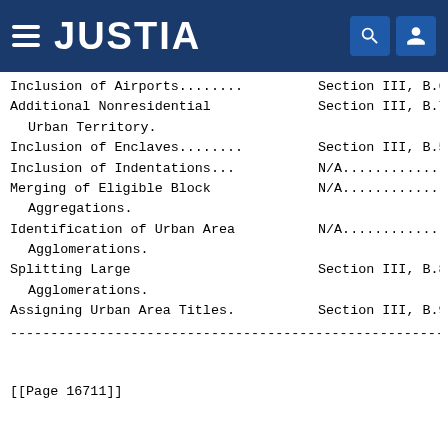JUSTIA
Inclusion of Airports......... Section III, B.6
Additional Nonresidential Urban Territory. Section III, B.7
Inclusion of Enclaves......... Section III, B.5
Inclusion of Indentations... N/A..............
Merging of Eligible Block Aggregations. N/A..............
Identification of Urban Area Agglomerations. N/A..............
Splitting Large Agglomerations. Section III, B.8
Assigning Urban Area Titles. Section III, B.9
[[Page 16711]]